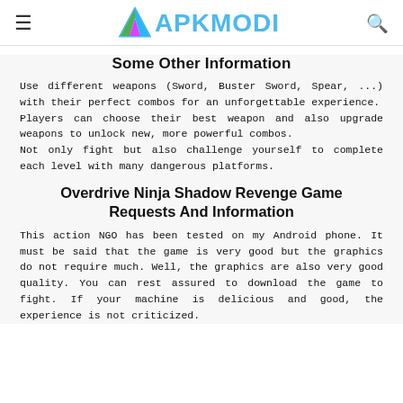≡  APKMODI  🔍
Some Other Information
Use different weapons (Sword, Buster Sword, Spear, ...) with their perfect combos for an unforgettable experience.
Players can choose their best weapon and also upgrade weapons to unlock new, more powerful combos.
Not only fight but also challenge yourself to complete each level with many dangerous platforms.
Overdrive Ninja Shadow Revenge Game Requests And Information
This action NGO has been tested on my Android phone. It must be said that the game is very good but the graphics do not require much. Well, the graphics are also very good quality. You can rest assured to download the game to fight. If your machine is delicious and good, the experience is not criticized.